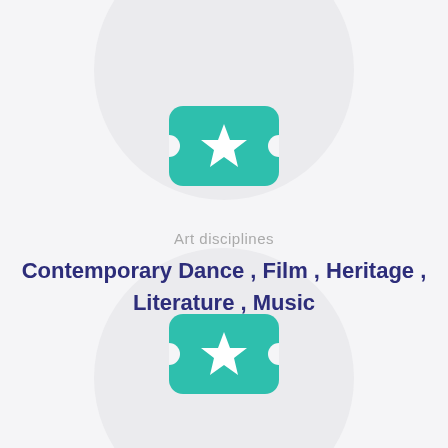[Figure (illustration): Teal ticket/star icon at top center]
Art disciplines
Contemporary Dance , Film , Heritage , Literature , Music
[Figure (illustration): Teal ticket/star icon at bottom center]